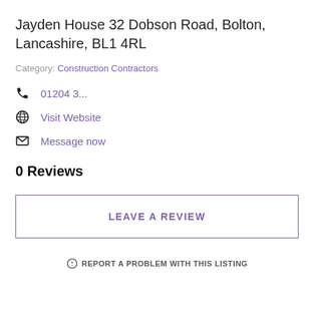Jayden House 32 Dobson Road, Bolton, Lancashire, BL1 4RL
Category: Construction Contractors
01204 3...
Visit Website
Message now
0 Reviews
LEAVE A REVIEW
REPORT A PROBLEM WITH THIS LISTING